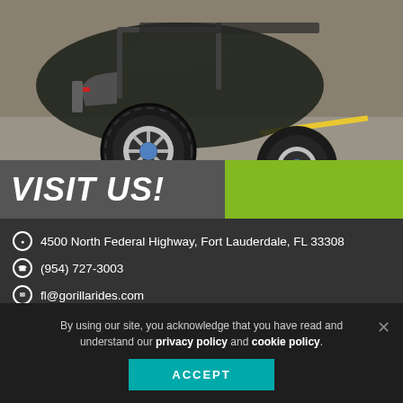[Figure (photo): Close-up photo of a lifted golf cart / off-road utility vehicle with large knobby tires and chrome/black alloy wheels, parked on a road with yellow lane markings. Vehicle is dark green/black.]
VISIT US!
📍 4500 North Federal Highway, Fort Lauderdale, FL 33308
📞 (954) 727-3003
✉ fl@gorillarides.com
🌐 www.gorillarides.com
By using our site, you acknowledge that you have read and understand our privacy policy and cookie policy.
ACCEPT